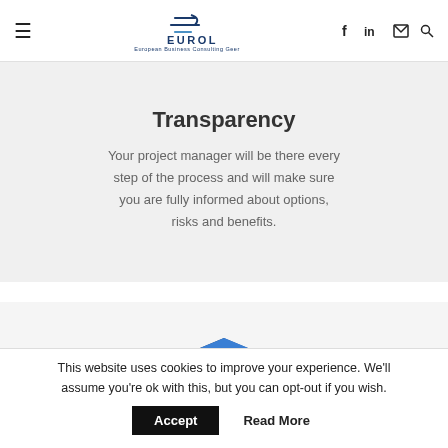Eurolink — European Business Consulting Geer
Transparency
Your project manager will be there every step of the process and will make sure you are fully informed about options, risks and benefits.
[Figure (illustration): Translation / language icon — a cube with Chinese character and letter A, with curved arrows, in dark blue]
No language barriers
This website uses cookies to improve your experience. We'll assume you're ok with this, but you can opt-out if you wish.
Accept   Read More